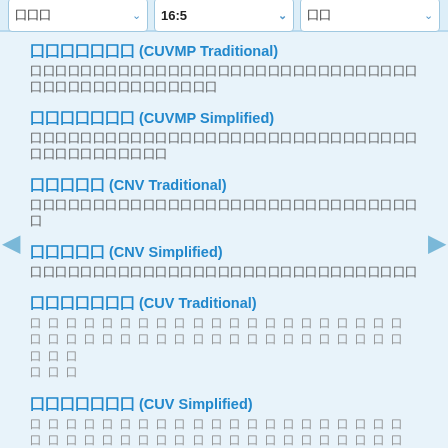dropdown: 囗囗囗 | 16:5 | 囗囗
囗囗囗囗囗囗囗 (CUVMP Traditional)
囗囗囗囗囗囗囗囗囗囗囗囗囗囗囗囗囗囗囗囗囗囗囗囗囗囗囗囗囗囗
囗囗囗囗囗囗囗 (CUVMP Simplified)
囗囗囗囗囗囗囗囗囗囗囗囗囗囗囗囗囗囗囗囗囗囗囗囗囗囗囗囗囗囗
囗囗囗囗囗 (CNV Traditional)
囗囗囗囗囗囗囗囗囗囗囗囗囗囗囗囗囗囗囗囗囗囗囗囗囗
囗囗囗囗囗 (CNV Simplified)
囗囗囗囗囗囗囗囗囗囗囗囗囗囗囗囗囗囗囗囗囗囗囗囗
囗囗囗囗囗囗囗 (CUV Traditional)
囗囗囗囗囗囗囗囗囗囗囗囗囗囗囗囗囗囗囗囗囗囗囗囗囗囗囗囗囗囗囗囗囗囗囗囗囗囗囗囗囗囗囗
囗囗囗囗囗囗囗 (CUV Simplified)
囗囗囗囗囗囗囗囗囗囗囗囗囗囗囗囗囗囗囗囗囗囗囗囗囗囗囗囗囗囗囗囗囗囗囗囗囗囗囗囗囗囗囗